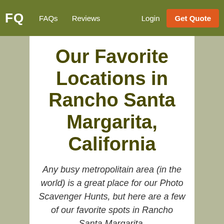FQ  FAQs  Reviews  Login  Get Quote
Our Favorite Locations in Rancho Santa Margarita, California
Any busy metropolitain area (in the world) is a great place for our Photo Scavenger Hunts, but here are a few of our favorite spots in Rancho Santa Margarita,